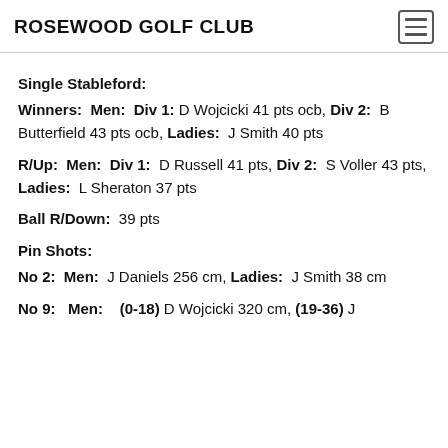ROSEWOOD GOLF CLUB
Single Stableford:
Winners:  Men:  Div 1: D Wojcicki 41 pts ocb,  Div 2:  B Butterfield 43 pts ocb, Ladies:  J Smith 40 pts
R/Up:  Men:  Div 1:  D Russell 41 pts, Div 2:  S Voller 43 pts, Ladies:  L Sheraton 37 pts
Ball R/Down:  39 pts
Pin Shots:
No 2:  Men:  J Daniels 256 cm, Ladies:  J Smith 38 cm
No 9:  Men:  (0-18)  D Wojcicki 320 cm, (19-36)  J